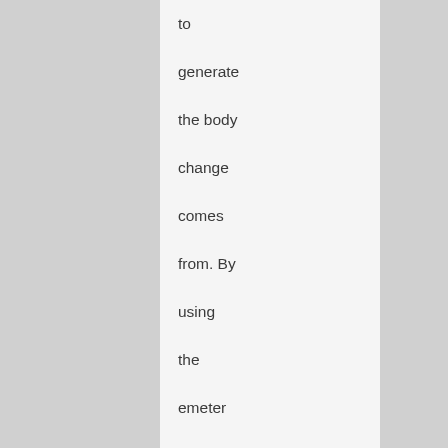to generate the body change comes from. By using the emeter we are interested to come down to the original impulse, not its reaction.

All best